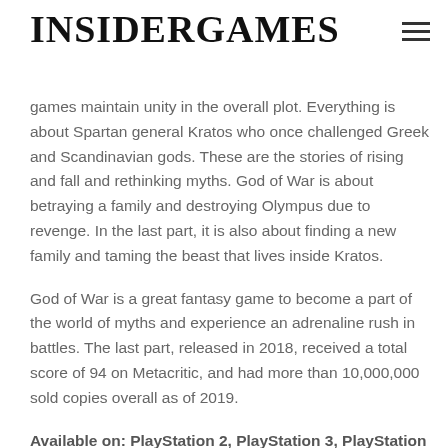INSIDERGAMES
games maintain unity in the overall plot. Everything is about Spartan general Kratos who once challenged Greek and Scandinavian gods. These are the stories of rising and fall and rethinking myths. God of War is about betraying a family and destroying Olympus due to revenge. In the last part, it is also about finding a new family and taming the beast that lives inside Kratos.
God of War is a great fantasy game to become a part of the world of myths and experience an adrenaline rush in battles. The last part, released in 2018, received a total score of 94 on Metacritic, and had more than 10,000,000 sold copies overall as of 2019.
Available on: PlayStation 2, PlayStation 3, PlayStation Portable, Playstation Vita, Java, PlayStation 4, PlayStation 5.
5. The Last Guardian